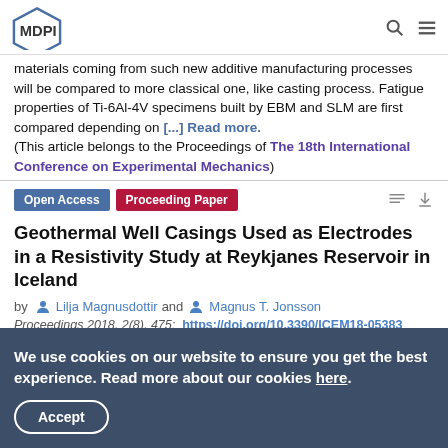MDPI
materials coming from such new additive manufacturing processes will be compared to more classical one, like casting process. Fatigue properties of Ti-6Al-4V specimens built by EBM and SLM are first compared depending on [...] Read more. (This article belongs to the Proceedings of The 18th International Conference on Experimental Mechanics)
Open Access  Proceeding Paper
Geothermal Well Casings Used as Electrodes in a Resistivity Study at Reykjanes Reservoir in Iceland
by Lilja Magnusdottir and Magnus T. Jonsson
Proceedings 2018, 2(8), 475; https://doi.org/10.3390/ICEM18-05383
We use cookies on our website to ensure you get the best experience. Read more about our cookies here.